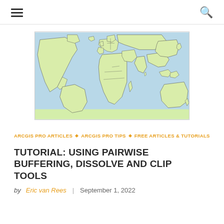≡  🔍
[Figure (map): World map showing continents and country borders with light blue ocean and yellow-green land masses]
ARCGIS PRO ARTICLES ◆ ARCGIS PRO TIPS ◆ FREE ARTICLES & TUTORIALS
TUTORIAL: USING PAIRWISE BUFFERING, DISSOLVE AND CLIP TOOLS
by Eric van Rees | September 1, 2022